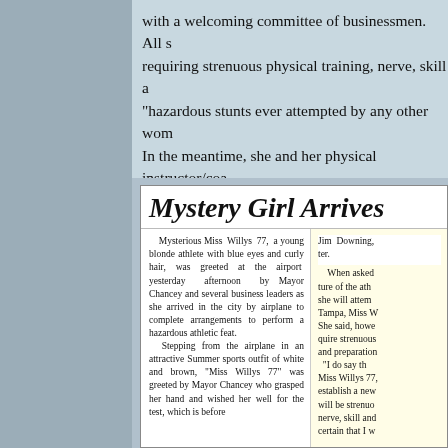with a welcoming committee of businessmen.  All s requiring strenuous physical training, nerve, skill a "hazardous stunts ever attempted by any other wom In the meantime, she and her physical instructor/co mainly of bread and beer, or so she claimed. (Surp training diet.)  There was one more column to this a
[Figure (other): Newspaper clipping showing headline 'Mystery Girl Arrives' with two-column article text. Left column describes 'Mysterious Miss Willys 77' arriving at an airport. Right column (partially highlighted yellow) describes Jim Downing and quotes about the athletic feat in Tampa.]